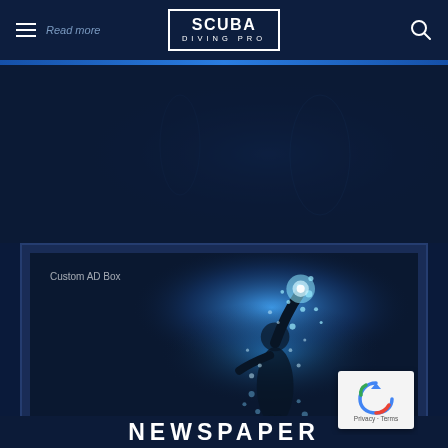SCUBA DIVING PRO
Read more
[Figure (screenshot): Scuba Diving Pro website screenshot showing header with logo, navigation hamburger menu, search icon, blue accent bar, and a dark blue underwater-themed advertisement box labeled 'Custom AD Box' with a glowing diver figure surrounded by bubbles, plus a reCAPTCHA privacy badge in the bottom right, and partial NEWSPAPER text at the bottom]
Custom AD Box
Privacy · Terms